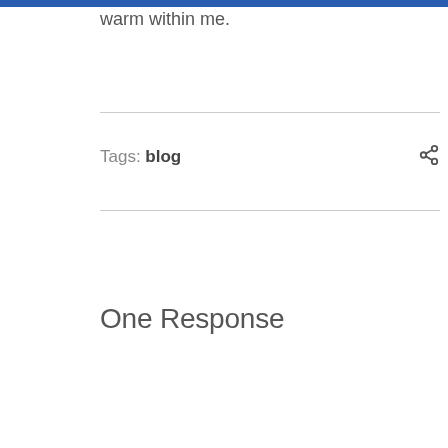warm within me.
Tags: blog
One Response